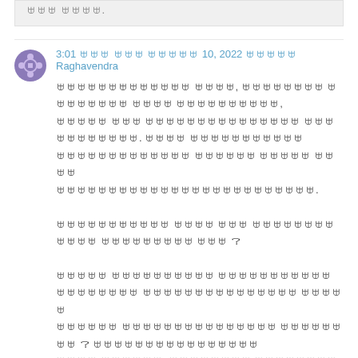ꁁꁁꁁ ꁁꁁꁁꁁ.
3:01 ꁁꁁꁁ ꁁꁁꁁ ꁁꁁꁁꁁꁁ 10, 2022 ꁁꁁꁁꁁꁁ Raghavendra
ꁁꁁꁁꁁꁁꁁꁁꁁꁁꁁꁁꁁꁁ ꁁꁁꁁꁁ, ꁁꁁꁁꁁꁁꁁꁁꁁ ꁁꁁꁁꁁꁁꁁꁁꁁ ꁁꁁꁁꁁ ꁁꁁꁁꁁꁁꁁꁁꁁꁁꁁ, ꁁꁁꁁꁁꁁ ꁁꁁꁁ ꁁꁁꁁꁁꁁꁁꁁꁁꁁꁁꁁꁁꁁꁁꁁ ꁁꁁꁁ ꁁꁁꁁꁁꁁꁁꁁꁁ. ꁁꁁꁁꁁ ꁁꁁꁁꁁꁁꁁꁁꁁꁁꁁꁁ ꁁꁁꁁꁁꁁꁁꁁꁁꁁꁁꁁꁁꁁ ꁁꁁꁁꁁꁁꁁ ꁁꁁꁁꁁꁁ ꁁꁁꁁꁁ ꁁꁁꁁꁁꁁꁁꁁꁁꁁꁁꁁꁁꁁꁁꁁꁁꁁꁁꁁꁁꁁꁁꁁꁁꁁ. ꁁꁁꁁꁁꁁꁁꁁꁁꁁꁁꁁ ꁁꁁꁁꁁ ꁁꁁꁁ ꁁꁁꁁꁁꁁꁁꁁꁁꁁꁁꁁꁁ ꁁꁁꁁꁁꁁꁁꁁꁁꁁ ꁁꁁꁁ ? ꁁꁁꁁꁁꁁ ꁁꁁꁁꁁꁁꁁꁁꁁꁁꁁ ꁁꁁꁁꁁꁁꁁꁁꁁꁁꁁꁁ ꁁꁁꁁꁁꁁꁁꁁꁁ ꁁꁁꁁꁁꁁꁁꁁꁁꁁꁁꁁꁁꁁꁁꁁ ꁁꁁꁁꁁꁁ ꁁꁁꁁꁁꁁꁁ ꁁꁁꁁꁁꁁꁁꁁꁁꁁꁁꁁꁁꁁꁁꁁ ꁁꁁꁁꁁꁁꁁꁁꁁ ? ꁁꁁꁁꁁꁁꁁꁁꁁꁁꁁꁁꁁꁁꁁꁁꁁ ꁁꁁꁁꁁ ꁁꁁꁁꁁꁁꁁ, ꁁꁁꁁꁁꁁꁁꁁꁁ ꁁꁁꁁꁁꁁꁁꁁꁁ, ꁁꁁꁁꁁꁁꁁꁁ ꁁꁁꁁꁁ ꁁꁁꁁꁁꁁꁁ ꁁꁁꁁꁁꁁꁁ ?
4:39 ꁁꁁꁁ ꁁꁁꁁ ꁁꁁꁁꁁꁁ 10, 2022 ꁁꁁꁁꁁꁁ bandhu
ꁁꁁꁁꁁꁁꁁꁁ ꁁꁁꁁ ꁁꁁꁁꁁ ꁁꁁꁁꁁ. ꁁꁁꁁꁁꁁꁁ ꁁꁁꁁꁁꁁꁁꁁꁁꁁꁁ ꁁꁁꁁꁁ